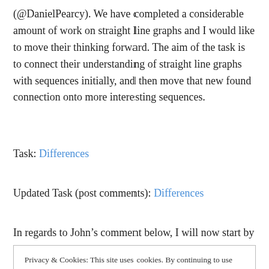(@DanielPearcy). We have completed a considerable amount of work on straight line graphs and I would like to move their thinking forward. The aim of the task is to connect their understanding of straight line graphs with sequences initially, and then move that new found connection onto more interesting sequences.
Task: Differences
Updated Task (post comments): Differences
In regards to John’s comment below, I will now start by
Privacy & Cookies: This site uses cookies. By continuing to use this website, you agree to their use.
To find out more, including how to control cookies, see here: Cookie Policy
Close and accept